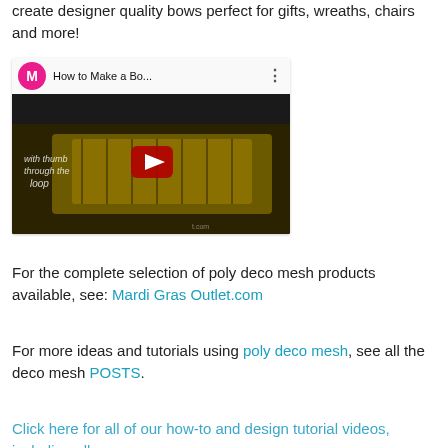create designer quality bows perfect for gifts, wreaths, chairs and more!
[Figure (screenshot): Embedded YouTube video thumbnail showing 'How to Make a Bo...' with a pink M channel icon, dark video body showing hands working with yellow striped ribbon/mesh with text 'with thumb through the loop', and a red play button in the center.]
For the complete selection of poly deco mesh products available, see: Mardi Gras Outlet.com
For more ideas and tutorials using poly deco mesh, see all the deco mesh POSTS.
Click here for all of our how-to and design tutorial videos, including all...